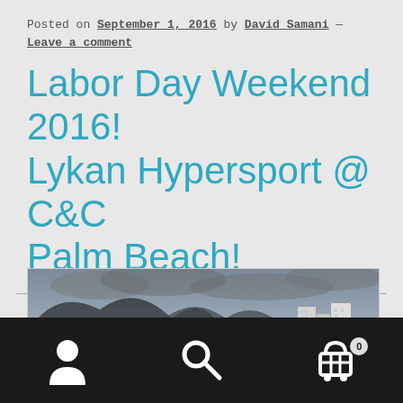Posted on September 1, 2016 by David Samani —
Leave a comment
Labor Day Weekend 2016! Lykan Hypersport @ C&C Palm Beach!
[Figure (photo): Panoramic cityscape with mountains in background under cloudy sky, coastal city skyline with tall buildings]
Navigation bar with user icon, search icon, and cart icon (0 items)